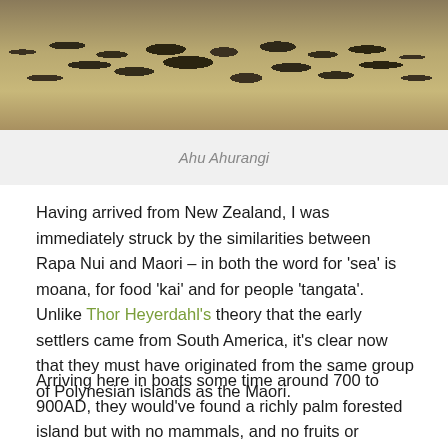[Figure (photo): Landscape photo of a rocky hillside with dry grass and scattered dark volcanic rocks, typical of Easter Island terrain]
Ahu Ahurangi
Having arrived from New Zealand, I was immediately struck by the similarities between Rapa Nui and Maori – in both the word for 'sea' is moana, for food 'kai' and for people 'tangata'. Unlike Thor Heyerdahl's theory that the early settlers came from South America, it's clear now that they must have originated from the same group of Polynesian islands as the Maori.
Arriving here in boats some time around 700 to 900AD, they would've found a richly palm forested island but with no mammals, and no fruits or vegetables as there were no bees to pollinate them. They would've had to live on whatever